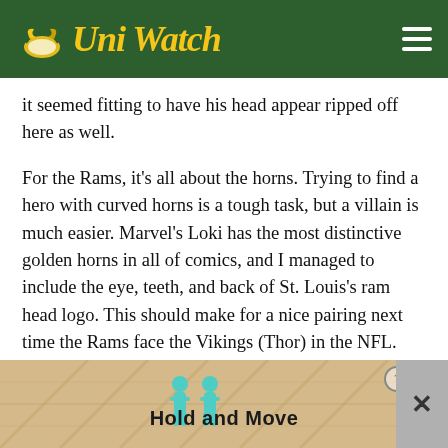Uni Watch
it seemed fitting to have his head appear ripped off here as well.
For the Rams, it's all about the horns. Trying to find a hero with curved horns is a tough task, but a villain is much easier. Marvel's Loki has the most distinctive golden horns in all of comics, and I managed to include the eye, teeth, and back of St. Louis's ram head logo. This should make for a nice pairing next time the Rams face the Vikings (Thor) in the NFL.
The final NFL Superhero matchup takes place next week, between the Titans and the Jaguars. Who will be the heroes and villains? Share your guesses
[Figure (infographic): Hold and Move advertisement banner with two teal colored figure icons and a diagonal wooden plank background. Contains close/info buttons in top right corner and a gray X panel on the far right.]